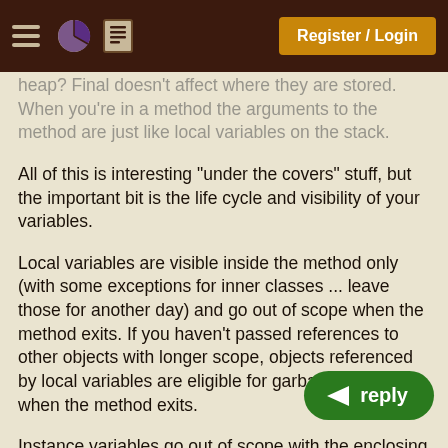Register / Login
heap? Final doesn't affect where they are stored. When you're in a method the arguments to the method are just like local variables on the stack.
All of this is interesting "under the covers" stuff, but the important bit is the life cycle and visibility of your variables.
Local variables are visible inside the method only (with some exceptions for inner classes ... leave those for another day) and go out of scope when the method exits. If you haven't passed references to other objects with longer scope, objects referenced by local variables are eligible for garbage collection when the method exits.
Instance variables go out of scope with the enclosing object. Again if you haven't passed references to other object to hold they can be GCd when the enclosing object becomes eligible.